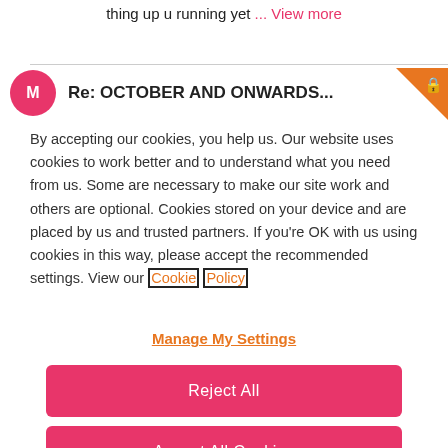thing up u running yet ... View more
Re: OCTOBER AND ONWARDS...
By accepting our cookies, you help us. Our website uses cookies to work better and to understand what you need from us. Some are necessary to make our site work and others are optional. Cookies stored on your device and are placed by us and trusted partners. If you're OK with us using cookies in this way, please accept the recommended settings. View our Cookie Policy
Manage My Settings
Reject All
Accept All Cookies